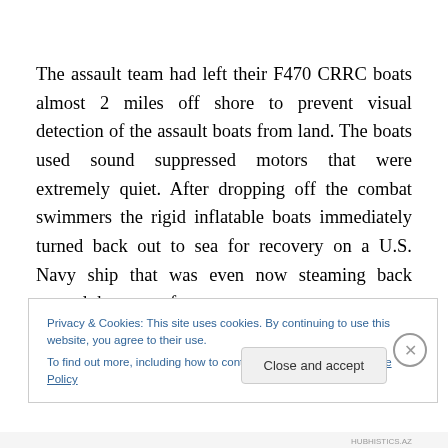The assault team had left their F470 CRRC boats almost 2 miles off shore to prevent visual detection of the assault boats from land. The boats used sound suppressed motors that were extremely quiet. After dropping off the combat swimmers the rigid inflatable boats immediately turned back out to sea for recovery on a U.S. Navy ship that was even now steaming back toward the coast after
Privacy & Cookies: This site uses cookies. By continuing to use this website, you agree to their use.
To find out more, including how to control cookies, see here: Cookie Policy